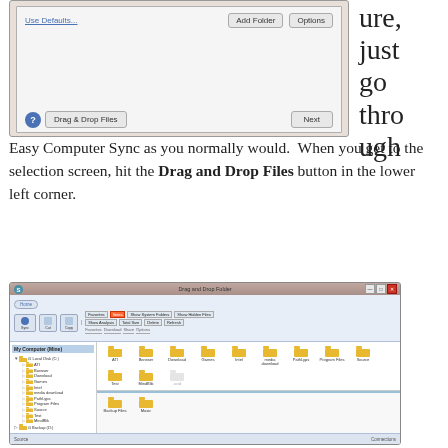[Figure (screenshot): Partial screenshot of Easy Computer Sync file selection dialog showing Use Defaults link, Add Folder and Options buttons, a Drag & Drop Files button with question mark icon, and a Next button]
ure, just go through Easy Computer Sync as you normally would.  When you get to the selection screen, hit the Drag and Drop Files button in the lower left corner.
[Figure (screenshot): Screenshot of Easy Computer Sync Drag and Drop Folder dialog showing a file explorer with two computer panes. Top pane shows My Computer (Mine) with local disk C folders: ATI, Borwser, Download, Games, Intel, media download, PalByps, Program Files, Source, Test, MindBlik. Bottom pane shows Connected Computer (Kris's Old Mac) with Local Disk C, Backup Drive D, and Backup E containing Backup Files and Music folders.]